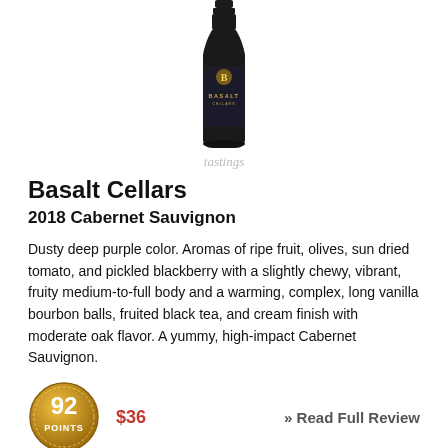[Figure (photo): Wine bottle for Basalt Cellars with black label and gold B logo]
tastings
Basalt Cellars
2018 Cabernet Sauvignon
Dusty deep purple color. Aromas of ripe fruit, olives, sun dried tomato, and pickled blackberry with a slightly chewy, vibrant, fruity medium-to-full body and a warming, complex, long vanilla bourbon balls, fruited black tea, and cream finish with moderate oak flavor. A yummy, high-impact Cabernet Sauvignon.
[Figure (infographic): Gold circular badge showing 92 POINTS score]
$36
» Read Full Review
Date Tasted: 1/14/2022 in our Chicago tasting lab - 92 points out of 100 .